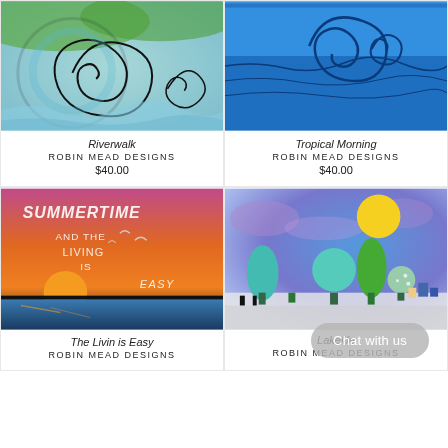[Figure (illustration): Colorful swirling wave artwork with blue and green tones - Riverwalk by Robin Mead Designs]
Riverwalk
ROBIN MEAD DESIGNS
$40.00
[Figure (illustration): Tropical ocean scene with blue waves and spirals - Tropical Morning by Robin Mead Designs]
Tropical Morning
ROBIN MEAD DESIGNS
$40.00
[Figure (illustration): Summertime art with text 'Summertime and the living is easy' with sunset and birds - The Livin is Easy by Robin Mead Designs]
The Livin is Easy
ROBIN MEAD DESIGNS
[Figure (illustration): Colorful landscape with trees, yellow moon, blue sky - Lakelife by Robin Mead Designs]
Lakelife
Chat with us